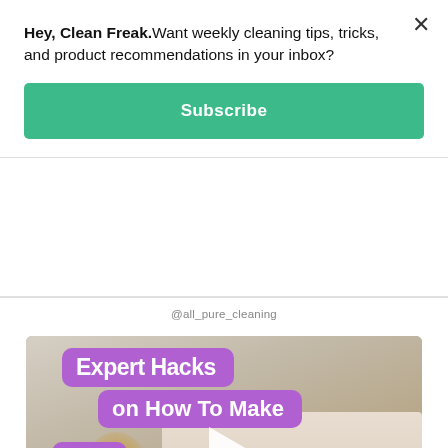Hey, Clean Freak.Want weekly cleaning tips, tricks, and product recommendations in your inbox?
[Figure (screenshot): Subscribe button (teal/green background, white bold text 'Subscribe')]
@all_pure_cleaning
[Figure (screenshot): Social media video thumbnail showing a bedroom with purple text overlay labels reading 'Expert Hacks on How To Make The Perfect' and a play button in the center]